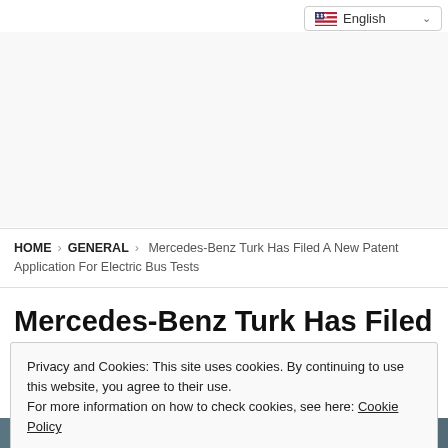English (language selector)
HOME > GENERAL > Mercedes-Benz Turk Has Filed A New Patent Application For Electric Bus Tests
Mercedes-Benz Turk Has Filed A
Privacy and Cookies: This site uses cookies. By continuing to use this website, you agree to their use.
For more information on how to check cookies, see here: Cookie Policy
OK